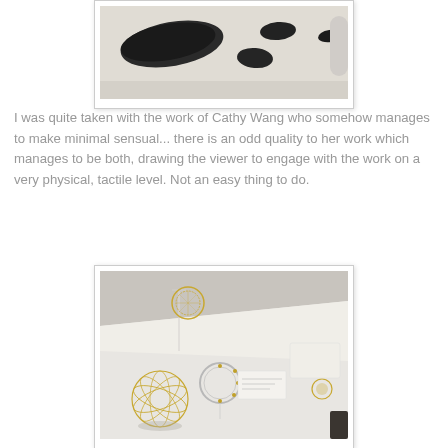[Figure (photo): Photo of dark sculptural objects mounted on a white wall, showing minimal forms.]
I was quite taken with the work of Cathy Wang who somehow manages to make minimal sensual... there is an odd quality to her work which manages to be both, drawing the viewer to engage with the work on a very physical, tactile level. Not an easy thing to do.
[Figure (photo): Photo of delicate gold wire jewelry pieces displayed on a white table surface, including spherical and circular forms.]